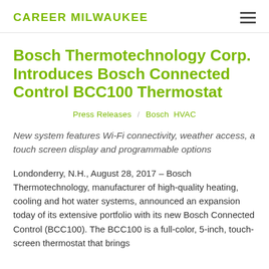CAREER MILWAUKEE
Bosch Thermotechnology Corp. Introduces Bosch Connected Control BCC100 Thermostat
Press Releases / Bosch  HVAC
New system features Wi-Fi connectivity, weather access, a touch screen display and programmable options
Londonderry, N.H., August 28, 2017 – Bosch Thermotechnology, manufacturer of high-quality heating, cooling and hot water systems, announced an expansion today of its extensive portfolio with its new Bosch Connected Control (BCC100). The BCC100 is a full-color, 5-inch, touch-screen thermostat that brings